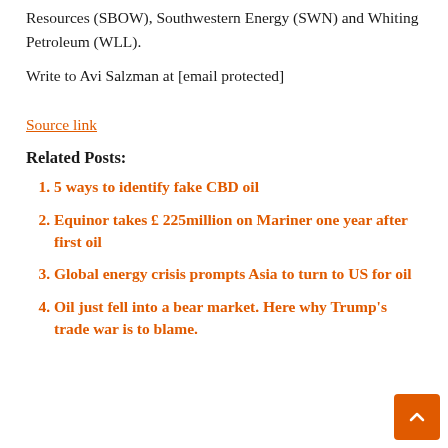Resources (SBOW), Southwestern Energy (SWN) and Whiting Petroleum (WLL).
Write to Avi Salzman at [email protected]
Source link
Related Posts:
5 ways to identify fake CBD oil
Equinor takes £ 225million on Mariner one year after first oil
Global energy crisis prompts Asia to turn to US for oil
Oil just fell into a bear market. Here why Trump's trade war is to blame.